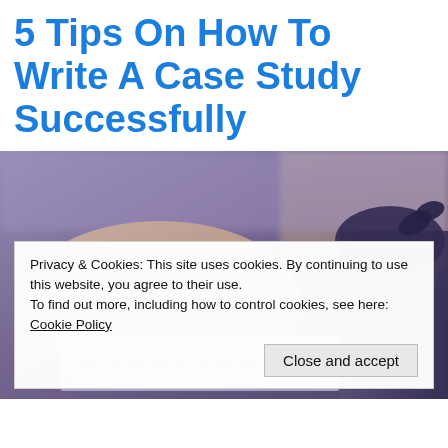5 Tips On How To Write A Case Study Successfully
[Figure (photo): Close-up photo of hands typing on a laptop keyboard, blurred background with wooden desk, purple/blue toned image]
Privacy & Cookies: This site uses cookies. By continuing to use this website, you agree to their use.
To find out more, including how to control cookies, see here:
Cookie Policy
Close and accept